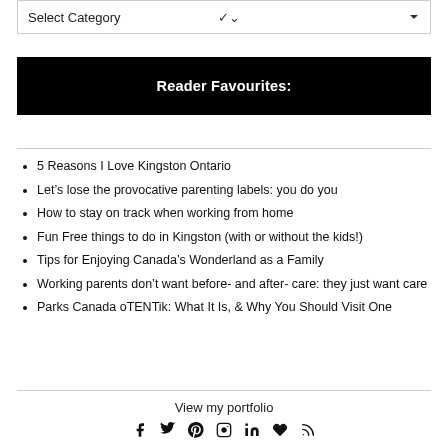Select Category
Reader Favourites:
5 Reasons I Love Kingston Ontario
Let's lose the provocative parenting labels: you do you
How to stay on track when working from home
Fun Free things to do in Kingston (with or without the kids!)
Tips for Enjoying Canada's Wonderland as a Family
Working parents don't want before- and after- care: they just want care
Parks Canada oTENTik: What It Is, & Why You Should Visit One
View my portfolio